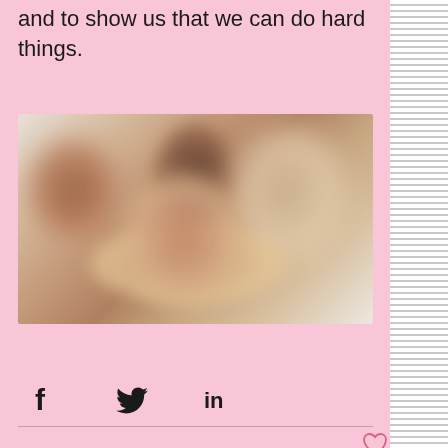and to show us that we can do hard things.
[Figure (photo): Blurred photo of a family or group of people smiling together, light background]
[Figure (infographic): Social share icons: Facebook (f), Twitter (bird), LinkedIn (in)]